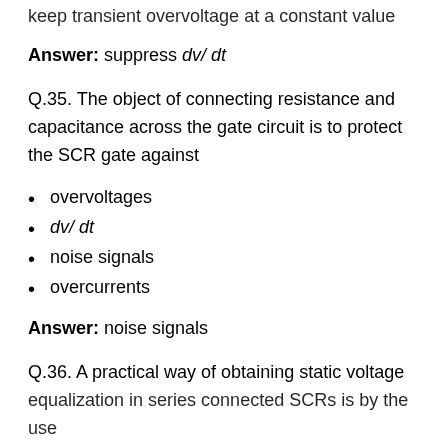keep transient overvoltage at a constant value
Answer: suppress dv/dt
Q.35. The object of connecting resistance and capacitance across the gate circuit is to protect the SCR gate against
overvoltages
dv/dt
noise signals
overcurrents
Answer: noise signals
Q.36. A practical way of obtaining static voltage equalization in series connected SCRs is by the use